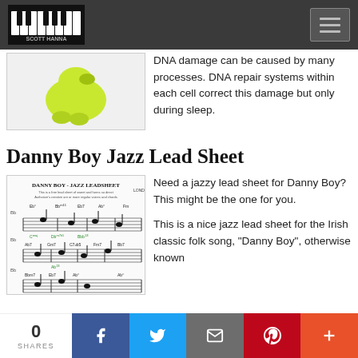Scott Hanna - website header with logo and hamburger menu
DNA damage can be caused by many processes. DNA repair systems within each cell correct this damage but only during sleep.
[Figure (photo): Yellow rubber duck/animal figure on white background]
Danny Boy Jazz Lead Sheet
[Figure (illustration): Danny Boy - Jazz Leadsheet music sheet with musical notation, chord symbols including Bb, Eb, Bb7, Ab, Fm, Gm7, C7, C7(9), Fm7, Bb7, Bbm7, Eb7, Ab, Ab - jazz lead sheet for the Irish folk song Danny Boy]
Need a jazzy lead sheet for Danny Boy? This might be the one for you.
This is a nice jazz lead sheet for the Irish classic folk song, "Danny Boy", otherwise known
0 SHARES | Facebook | Twitter | Email | Pinterest | More